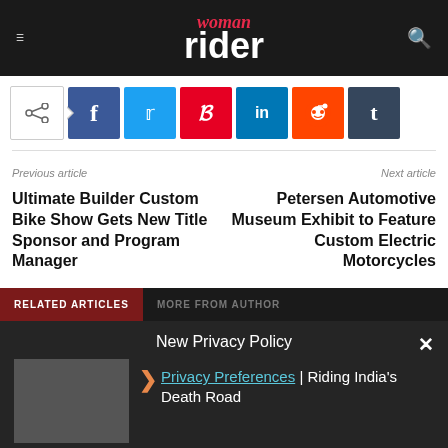woman rider
[Figure (infographic): Social share buttons: share icon, Facebook, Twitter, Pinterest, LinkedIn, Reddit, Tumblr]
Previous article
Next article
Ultimate Builder Custom Bike Show Gets New Title Sponsor and Program Manager
Petersen Automotive Museum Exhibit to Feature Custom Electric Motorcycles
RELATED ARTICLES   MORE FROM AUTHOR
New Privacy Policy
Privacy Preferences | Riding India's Death Road
I Agree